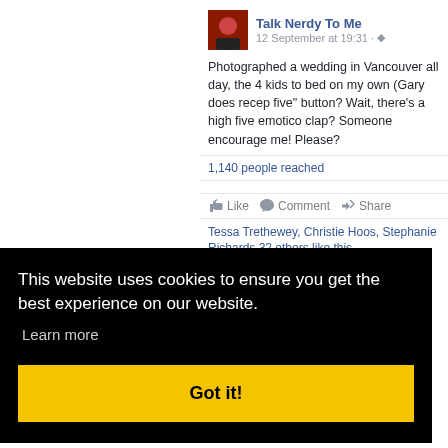Talk Nerdy To Me
12 September at 19:31 ·
Photographed a wedding in Vancouver all day, the 4 kids to bed on my own (Gary does recep five" button? Wait, there's a high five emoticon clap? Someone encourage me! Please?
1,140 people reached
Like  Comment  Share
Tessa Trethewey, Christie Hoos, Stephanie Richards 32 others like this.
This website uses cookies to ensure you get the best experience on our website.
Learn more
Got it!
inconve n always tter at it. them. A